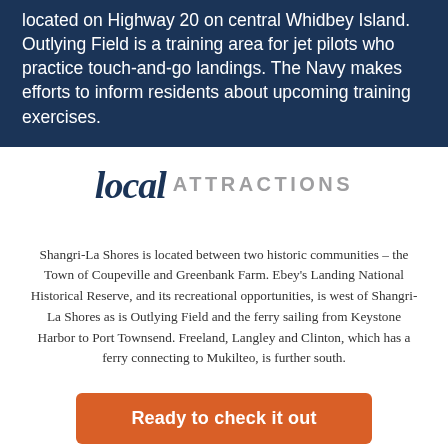located on Highway 20 on central Whidbey Island. Outlying Field is a training area for jet pilots who practice touch-and-go landings. The Navy makes efforts to inform residents about upcoming training exercises.
local ATTRACTIONS
Shangri-La Shores is located between two historic communities – the Town of Coupeville and Greenbank Farm. Ebey's Landing National Historical Reserve, and its recreational opportunities, is west of Shangri-La Shores as is Outlying Field and the ferry sailing from Keystone Harbor to Port Townsend. Freeland, Langley and Clinton, which has a ferry connecting to Mukilteo, is further south.
Ready to check it out